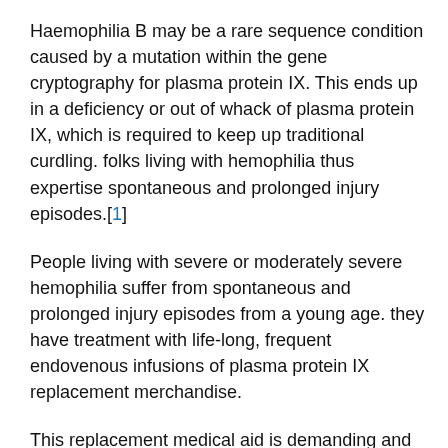Haemophilia B may be a rare sequence condition caused by a mutation within the gene cryptography for plasma protein IX. This ends up in a deficiency or out of whack of plasma protein IX, which is required to keep up traditional curdling. folks living with hemophilia thus expertise spontaneous and prolonged injury episodes.[1]
People living with severe or moderately severe hemophilia suffer from spontaneous and prolonged injury episodes from a young age. they have treatment with life-long, frequent endovenous infusions of plasma protein IX replacement merchandise.
This replacement medical aid is demanding and affects the complete family; even folks receiving prophylactic treatment have to be compelled to be ready for breakthrough bleeds and should be careful to avoid activities involving a risk of injury. Bleeds when injuries usually occur in joints and cause